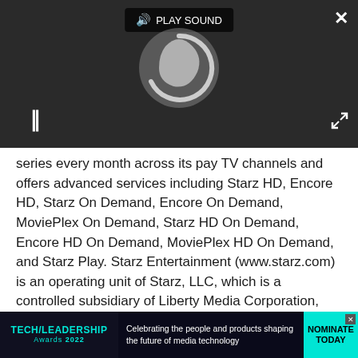[Figure (screenshot): Video player UI with dark background showing a loading spinner, play sound button, pause button, close button, and expand button.]
series every month across its pay TV channels and offers advanced services including Starz HD, Encore HD, Starz On Demand, Encore On Demand, MoviePlex On Demand, Starz HD On Demand, Encore HD On Demand, MoviePlex HD On Demand, and Starz Play. Starz Entertainment (www.starz.com) is an operating unit of Starz, LLC, which is a controlled subsidiary of Liberty Media Corporation, and is attributed to Liberty Starz, a tracking stock group of Liberty Media Corporation.
[Figure (screenshot): Advertisement banner for Tech Leadership Awards 2022 with teal/dark color scheme, text 'Celebrating the people and products shaping the future of media technology', and a NOMINATE TODAY button.]